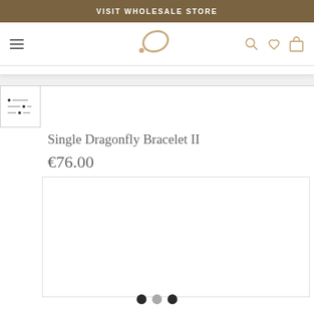VISIT WHOLESALE STORE
[Figure (screenshot): Website navigation bar with hamburger menu, logo (abstract dragonfly shape in tan/beige), search icon, heart/wishlist icon, and shopping bag icon]
[Figure (other): Filter/sort icon panel with three rows of sliders]
Single Dragonfly Bracelet II
€76.00
[Figure (photo): Product image area (white/blank image box)]
[Figure (other): Carousel navigation dots: three circles (dark, gray, dark)]